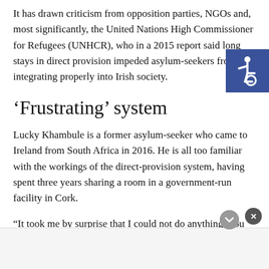It has drawn criticism from opposition parties, NGOs and, most significantly, the United Nations High Commissioner for Refugees (UNHCR), who in a 2015 report said long stays in direct provision impeded asylum-seekers from integrating properly into Irish society.
[Figure (other): Blue accessibility wheelchair symbol badge in top right corner]
‘Frustrating’ system
Lucky Khambule is a former asylum-seeker who came to Ireland from South Africa in 2016. He is all too familiar with the workings of the direct-provision system, having spent three years sharing a room in a government-run facility in Cork.
“It took me by surprise that I could not do anything. You know, that was the frustrating thing. That I was in the system and